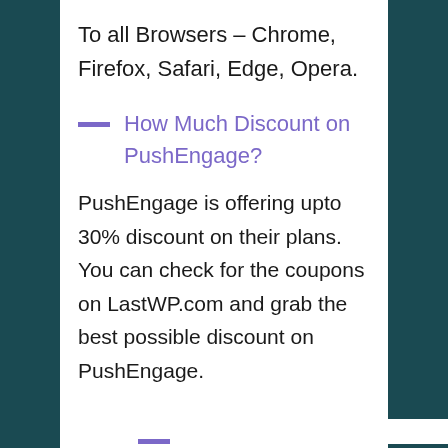To all Browsers – Chrome, Firefox, Safari, Edge, Opera.
How Much Discount on PushEngage?
PushEngage is offering upto 30% discount on their plans. You can check for the coupons on LastWP.com and grab the best possible discount on PushEngage.